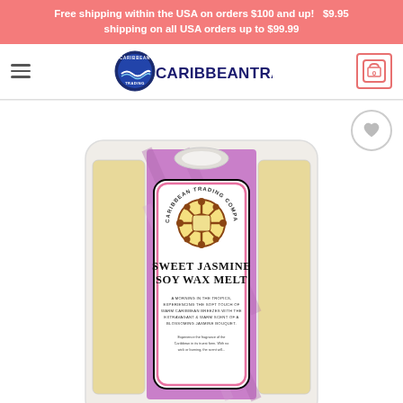Free shipping within the USA on orders $100 and up!   $9.95 shipping on all USA orders up to $99.99
[Figure (logo): CaribbeanTrading.com logo with circular nautical emblem and bold text]
[Figure (photo): Sweet Jasmine Soy Wax Melt product in clamshell packaging with purple/pink Caribbean Trading Company label. Label reads: SWEET JASMINE SOY WAX MELT. A morning in the tropics, experiencing the soft touch of warm Caribbean breezes with the extravagant & warm scent of a blossoming jasmine bouquet. Experience the fragrance of the Caribbean in its truest form. With no wick or burning, the scent will...]